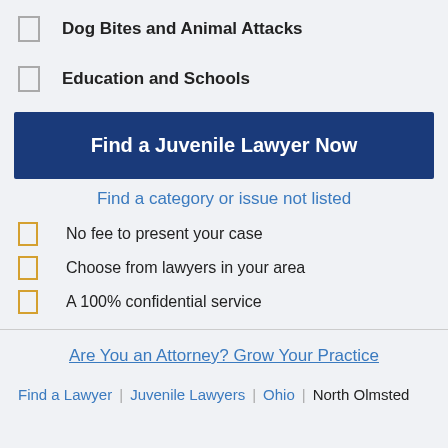Dog Bites and Animal Attacks
Education and Schools
Find a Juvenile Lawyer Now
Find a category or issue not listed
No fee to present your case
Choose from lawyers in your area
A 100% confidential service
Are You an Attorney? Grow Your Practice
Find a Lawyer | Juvenile Lawyers | Ohio | North Olmsted